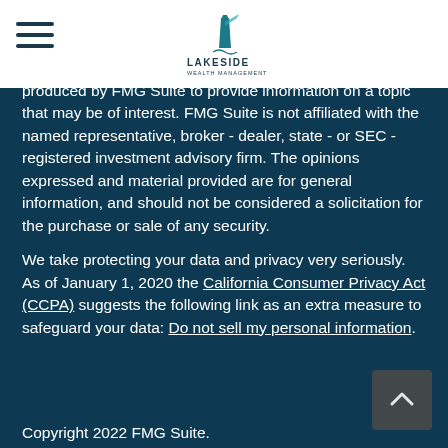Lakeside Wealth Management header with hamburger menu and logo
produced by FMG Suite to provide information on a topic that may be of interest. FMG Suite is not affiliated with the named representative, broker - dealer, state - or SEC - registered investment advisory firm. The opinions expressed and material provided are for general information, and should not be considered a solicitation for the purchase or sale of any security.
We take protecting your data and privacy very seriously. As of January 1, 2020 the California Consumer Privacy Act (CCPA) suggests the following link as an extra measure to safeguard your data: Do not sell my personal information.
Copyright 2022 FMG Suite.